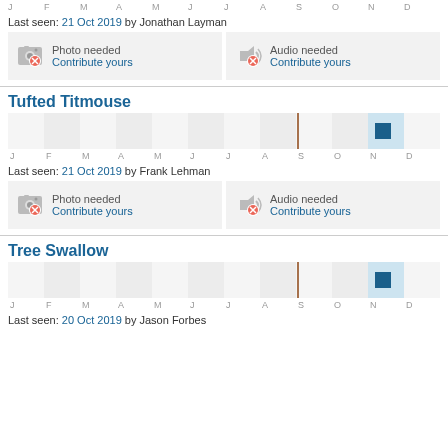[Figure (bar-chart): Sighting chart (top section)]
Last seen: 21 Oct 2019 by Jonathan Layman
[Figure (other): Photo needed placeholder with camera icon]
[Figure (other): Audio needed placeholder with speaker icon]
Tufted Titmouse
[Figure (bar-chart): Tufted Titmouse sighting chart]
Last seen: 21 Oct 2019 by Frank Lehman
[Figure (other): Photo needed placeholder with camera icon]
[Figure (other): Audio needed placeholder with speaker icon]
Tree Swallow
[Figure (bar-chart): Tree Swallow sighting chart]
Last seen: 20 Oct 2019 by Jason Forbes